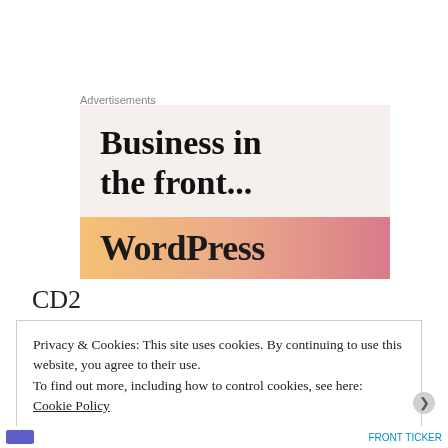Advertisements
[Figure (illustration): WordPress advertisement banner with 'Business in the front...' headline on light beige background and WordPress wordmark on gradient orange-pink banner]
CD2
Privacy & Cookies: This site uses cookies. By continuing to use this website, you agree to their use.
To find out more, including how to control cookies, see here:
Cookie Policy
Close and accept